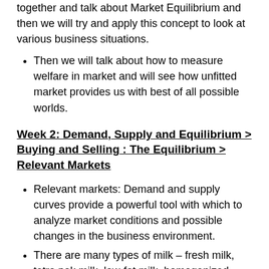together and talk about Market Equilibrium and then we will try and apply this concept to look at various business situations.
Then we will talk about how to measure welfare in market and will see how unfitted market provides us with best of all possible worlds.
Week 2: Demand, Supply and Equilibrium > Buying and Selling : The Equilibrium > Relevant Markets
Relevant markets: Demand and supply curves provide a powerful tool with which to analyze market conditions and possible changes in the business environment.
There are many types of milk – fresh milk, tetra pak milk, low-fat milk, homogenized milk, powdered milk, and so on.
Then there are products like sweets, chocolates, and ice cream, which also use milk in their production.
What is the relevant market for milk? Should we consider